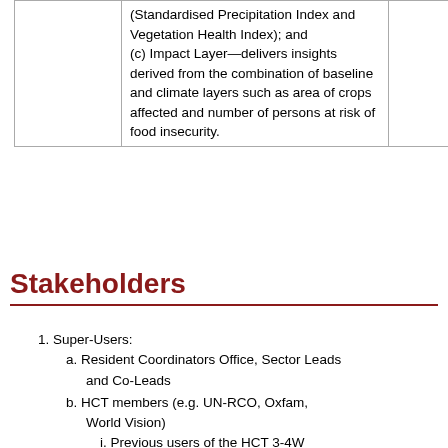|  | (Standardised Precipitation Index and Vegetation Health Index); and (c) Impact Layer—delivers insights derived from the combination of baseline and climate layers such as area of crops affected and number of persons at risk of food insecurity. |  |
Stakeholders
1. Super-Users:
a. Resident Coordinators Office, Sector Leads and Co-Leads
b. HCT members (e.g. UN-RCO, Oxfam, World Vision)
i. Previous users of the HCT 3-4W system
ii. mostly include coordination members